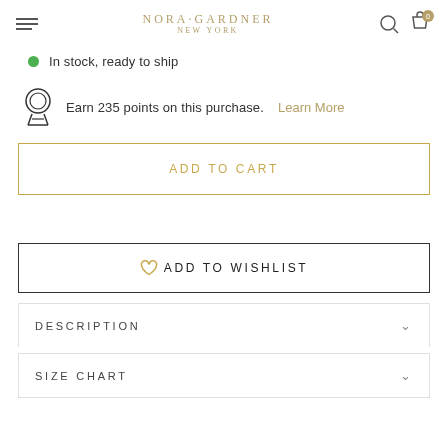NORA·GARDNER NEW YORK
In stock, ready to ship
Earn 235 points on this purchase. Learn More
ADD TO CART
♡ ADD TO WISHLIST
DESCRIPTION
SIZE CHART